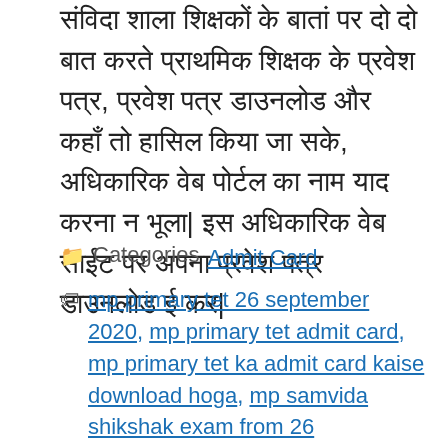संविदा शाला शिक्षकों के बातां पर दो दो बात करते प्राथमिक शिक्षक के प्रवेश पत्र, प्रवेश पत्र डाउनलोड और कहाँ तो हासिल किया जा सके, अधिकारिक वेब पोर्टल का नाम याद करना न भूला|
Categories: Admit Card
Tags: mp primary tet 26 september 2020, mp primary tet admit card, mp primary tet ka admit card kaise download hoga, mp samvida shikshak exam from 26 september, MP Samvida Shikshak Varg 3 Admit card, MP Samvida Shikshak Varg 3 Admit card 2020, mp state tet call letter, mp tet september